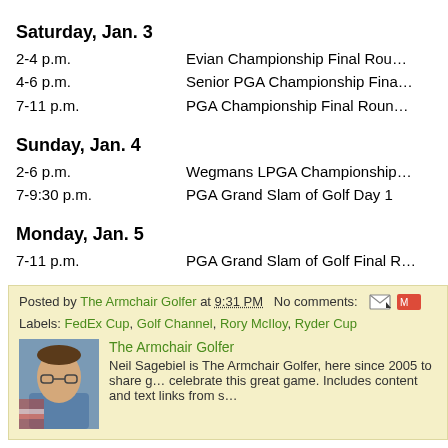Saturday, Jan. 3
2-4 p.m.   Evian Championship Final Rou…
4-6 p.m.   Senior PGA Championship Fina…
7-11 p.m.  PGA Championship Final Roun…
Sunday, Jan. 4
2-6 p.m.   Wegmans LPGA Championship…
7-9:30 p.m. PGA Grand Slam of Golf Day 1
Monday, Jan. 5
7-11 p.m.  PGA Grand Slam of Golf Final…
Posted by The Armchair Golfer at 9:31 PM   No comments:
Labels: FedEx Cup, Golf Channel, Rory McIloy, Ryder Cup
The Armchair Golfer
Neil Sagebiel is The Armchair Golfer, here since 2005 to share g… celebrate this great game. Includes content and text links from s…
Golf.com Gallery: Being Tiger in Younge…